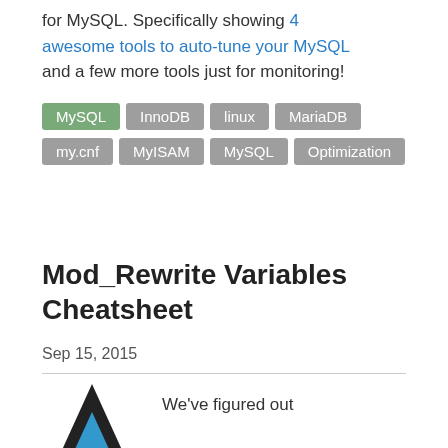for MySQL. Specifically showing 4 awesome tools to auto-tune your MySQL and a few more tools just for monitoring!
MySQL
InnoDB
linux
MariaDB
my.cnf
MyISAM
MySQL
Optimization
Mod_Rewrite Variables Cheatsheet
Sep 15, 2015
[Figure (illustration): Black triangle with blue inner triangle shape (logo/icon)]
We've figured out